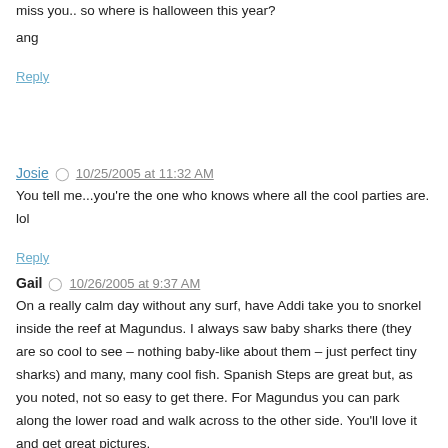miss you.. so where is halloween this year?
ang
Reply
Josie  10/25/2005 at 11:32 AM
You tell me...you're the one who knows where all the cool parties are. lol
Reply
Gail  10/26/2005 at 9:37 AM
On a really calm day without any surf, have Addi take you to snorkel inside the reef at Magundus. I always saw baby sharks there (they are so cool to see – nothing baby-like about them – just perfect tiny sharks) and many, many cool fish. Spanish Steps are great but, as you noted, not so easy to get there. For Magundus you can park along the lower road and walk across to the other side. You'll love it and get great pictures.
Reply